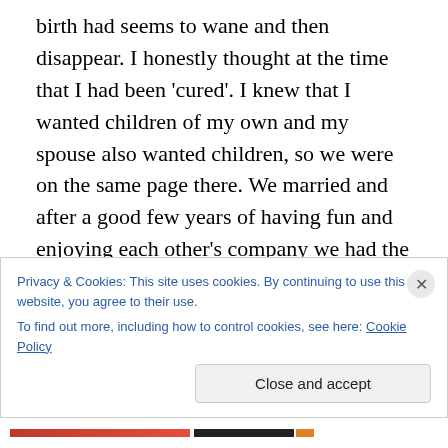birth had seems to wane and then disappear. I honestly thought at the time that I had been 'cured'. I knew that I wanted children of my own and my spouse also wanted children, so we were on the same page there. We married and after a good few years of having fun and enjoying each other's company we had the first of our two children. Unfortunately, whilst initially, marriage seemed to entrench my feelings of having been 'cured', the birth of my daughter seemed to coincide with a return of my need to express my true gender. Was this coincidental or a causative factor? I cannot say but there seems to have
Privacy & Cookies: This site uses cookies. By continuing to use this website, you agree to their use.
To find out more, including how to control cookies, see here: Cookie Policy
Close and accept